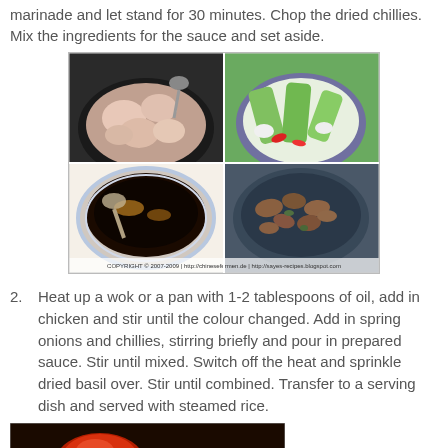marinade and let stand for 30 minutes. Chop the dried chillies. Mix the ingredients for the sauce and set aside.
[Figure (photo): Four-panel cooking photo collage showing: top-left raw chicken pieces in a dark pan, top-right green vegetables with chillies in a bowl, bottom-left dark sauce mixture in a bowl with spoon, bottom-right finished cooked chicken dish in a wok. Copyright watermark at bottom.]
Heat up a wok or a pan with 1-2 tablespoons of oil, add in chicken and stir until the colour changed. Add in spring onions and chillies, stirring briefly and pour in prepared sauce. Stir until mixed. Switch off the heat and sprinkle dried basil over. Stir until combined. Transfer to a serving dish and served with steamed rice.
[Figure (photo): Partial photo at bottom showing a dark red/orange object (possibly a pepper or tomato) on a dark background.]